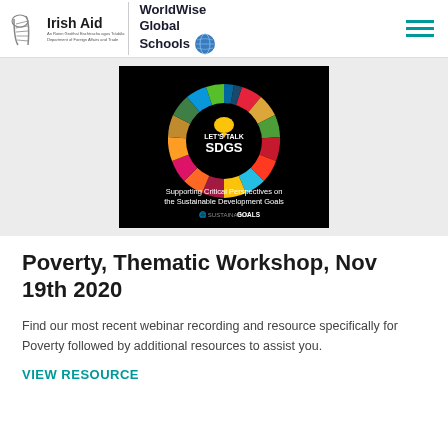[Figure (logo): Irish Aid logo with harp symbol and text 'Irish Aid, An Roinn Gnóthaí Eachtracha agus Trádála, Department of Foreign Affairs and Trade']
[Figure (logo): WorldWise Global Schools logo with globe icon]
[Figure (illustration): SDG wheel graphic on black background with coloured segments numbered 1-17, text 'LET'S TALK SDGS', subtitle 'Supporting Critical Perspectives on the Sustainable Development Goals', UN Sustainable Development Goals logo at bottom]
Poverty, Thematic Workshop, Nov 19th 2020
Find our most recent webinar recording and resource specifically for Poverty followed by additional resources to assist you.
VIEW RESOURCE